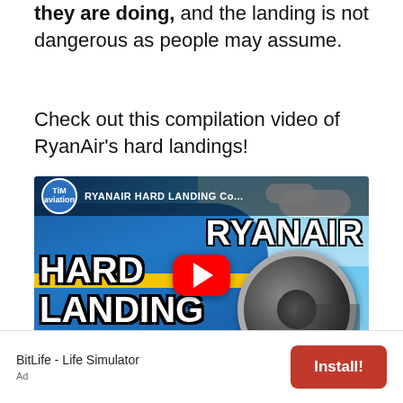they are doing, and the landing is not dangerous as people may assume.
Check out this compilation video of RyanAir's hard landings!
[Figure (screenshot): YouTube video thumbnail for 'RYANAIR HARD LANDING Compilation' by Tim Aviation channel. Shows a Ryanair Boeing 737 with blue livery and yellow stripe, large jet engine visible, sky background with clouds, tarmac in foreground. Text overlays: 'RYANAIR' at top right, 'HARD LANDING' at bottom left. Red YouTube play button in center.]
BitLife - Life Simulator

Ad
Install!